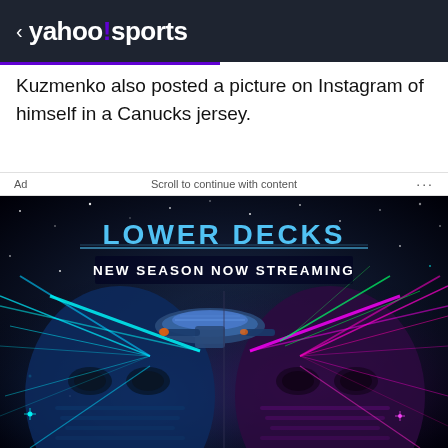< yahoo!sports
Kuzmenko also posted a picture on Instagram of himself in a Canucks jersey.
Ad   Scroll to continue with content   ...
[Figure (illustration): Advertisement for a Star Trek Lower Decks new season streaming, featuring a sci-fi poster with spaceships, laser beams, and a stylized robot/android face split in two halves against a starfield background. Text reads 'LOWER DECKS' and 'NEW SEASON NOW STREAMING'.]